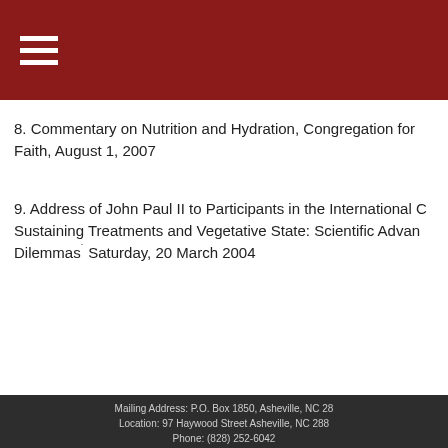Navigation bar with hamburger menu
8. Commentary on Nutrition and Hydration, Congregation for Faith, August 1, 2007
9. Address of John Paul II to Participants in the International Congress on Life-Sustaining Treatments and Vegetative State: Scientific Advances and Ethical Dilemmas˙ Saturday, 20 March 2004
Mailing Address: P.O. Box 1850, Asheville, NC 288... Location: 97 Haywood Street Asheville, NC 288... Phone: (828) 252-6042 Office Hours: Tuesday - Friday, 9:00 a.m. to 12:00 N... (Office Closed Mondays, Saturdays, Sundays, and Holy Day... (Interior Basilica photo on home page courtesy of Ste... Login | powered by eCatholic®